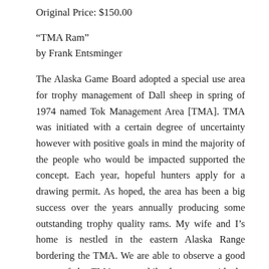Original Price: $150.00
“TMA Ram”
by Frank Entsminger
The Alaska Game Board adopted a special use area for trophy management of Dall sheep in spring of 1974 named Tok Management Area [TMA]. TMA was initiated with a certain degree of uncertainty however with positive goals in mind the majority of the people who would be impacted supported the concept. Each year, hopeful hunters apply for a drawing permit. As hoped, the area has been a big success over the years annually producing some outstanding trophy quality rams. My wife and I’s home is nestled in the eastern Alaska Range bordering the TMA. We are able to observe a good many of the TMA rams while they cope with the day-to-day elements of survival. Observing and photographing these sheep has become a part of our lives. Late one fall, we noticed one particular ram that supported a unique set of heart